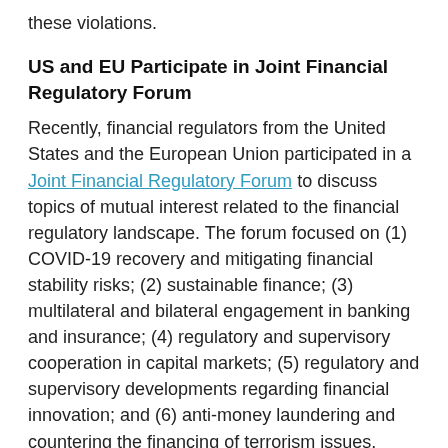these violations.
US and EU Participate in Joint Financial Regulatory Forum
Recently, financial regulators from the United States and the European Union participated in a Joint Financial Regulatory Forum to discuss topics of mutual interest related to the financial regulatory landscape. The forum focused on (1) COVID-19 recovery and mitigating financial stability risks; (2) sustainable finance; (3) multilateral and bilateral engagement in banking and insurance; (4) regulatory and supervisory cooperation in capital markets; (5) regulatory and supervisory developments regarding financial innovation; and (6) anti-money laundering and countering the financing of terrorism issues.